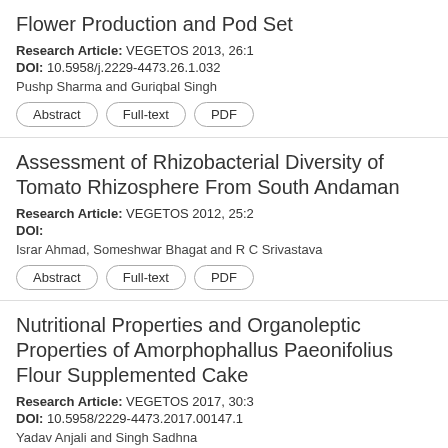Flower Production and Pod Set
Research Article: VEGETOS 2013, 26:1
DOI: 10.5958/j.2229-4473.26.1.032
Pushp Sharma and Guriqbal Singh
Assessment of Rhizobacterial Diversity of Tomato Rhizosphere From South Andaman
Research Article: VEGETOS 2012, 25:2
DOI:
Israr Ahmad, Someshwar Bhagat and R C Srivastava
Nutritional Properties and Organoleptic Properties of Amorphophallus Paeonifolius Flour Supplemented Cake
Research Article: VEGETOS 2017, 30:3
DOI: 10.5958/2229-4473.2017.00147.1
Yadav Anjali and Singh Sadhna